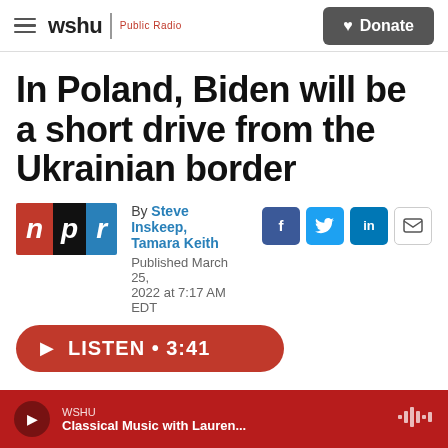wshu | Public Radio   Donate
In Poland, Biden will be a short drive from the Ukrainian border
By Steve Inskeep, Tamara Keith
Published March 25, 2022 at 7:17 AM EDT
LISTEN • 3:41
WSHU  Classical Music with Lauren...